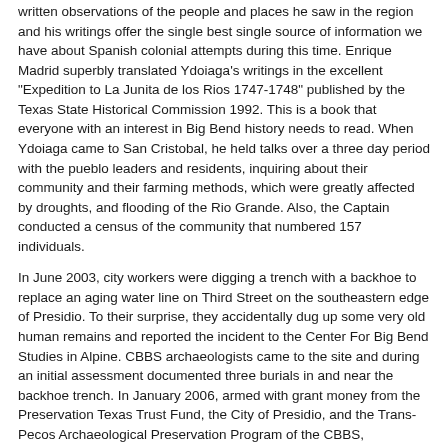written observations of the people and places he saw in the region and his writings offer the single best single source of information we have about Spanish colonial attempts during this time. Enrique Madrid superbly translated Ydoiaga's writings in the excellent "Expedition to La Junita de los Rios 1747-1748" published by the Texas State Historical Commission 1992. This is a book that everyone with an interest in Big Bend history needs to read. When Ydoiaga came to San Cristobal, he held talks over a three day period with the pueblo leaders and residents, inquiring about their community and their farming methods, which were greatly affected by droughts, and flooding of the Rio Grande. Also, the Captain conducted a census of the community that numbered 157 individuals.
In June 2003, city workers were digging a trench with a backhoe to replace an aging water line on Third Street on the southeastern edge of Presidio. To their surprise, they accidentally dug up some very old human remains and reported the incident to the Center For Big Bend Studies in Alpine. CBBS archaeologists came to the site and during an initial assessment documented three burials in and near the backhoe trench. In January 2006, armed with grant money from the Preservation Texas Trust Fund, the City of Presidio, and the Trans-Pecos Archaeological Preservation Program of the CBBS, archaeologists began an extensive investigation of the Millington Site. CBBS Director William A. Cloud worked as Principal Investigator and Project Archaeologist with Dr. Jennifer Piehl as Assistant Project Archaeologist. The archaeologists discovered fourteen features including parts of three structures, five human burials, a ring midden, and two small hearths along with a total of 2,745 artifacts. The Millington site proved to be the place described by Ydoiaga 261 years ago as the San Cristobal Pueblo.
The project finally resulted in a fine new book by William A. Cloud and Jennifer C. Piehl titled, "The Millington Site: Archaeological and Human Osteological Investigations Presidio County, Texas". Published by the Center for Big Bend Studies, the 211-page book contains an amazing amount of data and information. As a historian, I found this book to be absolutely fascinating because in addition to the detailed and complete archaeological information, the authors did a superb job of explaining the importance of the data, the historical context and how the study greatly advances our knowledge of the La Junta people and their environment. It like, "Expedition to La Junita de los Rios 1747-1748" is a book that cannot be overlooked by anyone wanting to truly understand Big Bend history.
"The Millington Site" is available at Front Street Books in Alpine. It can be ordered